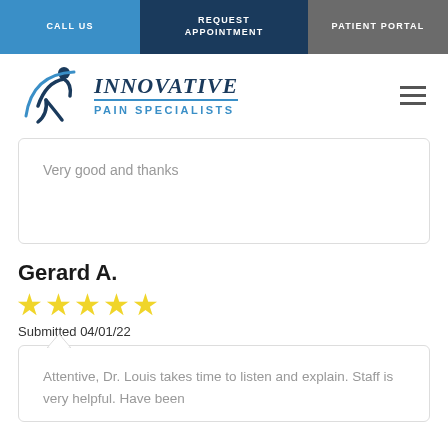CALL US | REQUEST APPOINTMENT | PATIENT PORTAL
[Figure (logo): Innovative Pain Specialists logo with stylized figure and text]
Very good and thanks
Gerard A.
[Figure (other): 5 gold stars rating]
Submitted 04/01/22
Attentive, Dr. Louis takes time to listen and explain. Staff is very helpful. Have been